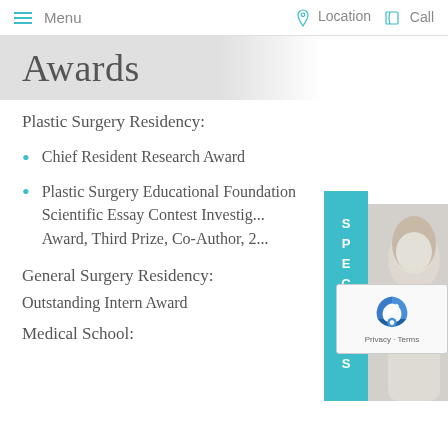Menu    Location    Call
Awards
Plastic Surgery Residency:
Chief Resident Research Award
Plastic Surgery Educational Foundation Scientific Essay Contest Investigator Award, Third Prize, Co-Author, 2[...]
General Surgery Residency:
Outstanding Intern Award
Medical School: